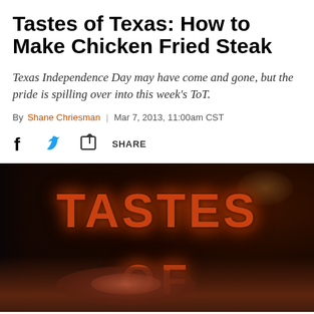Tastes of Texas: How to Make Chicken Fried Steak
Texas Independence Day may have come and gone, but the pride is spilling over into this week's ToT.
By Shane Chriesman | Mar 7, 2013, 11:00am CST
[Figure (photo): Dark promotional image with 'TASTES OF' text in large orange-red letters over a dark background with meat visible at the bottom]
TASTES OF